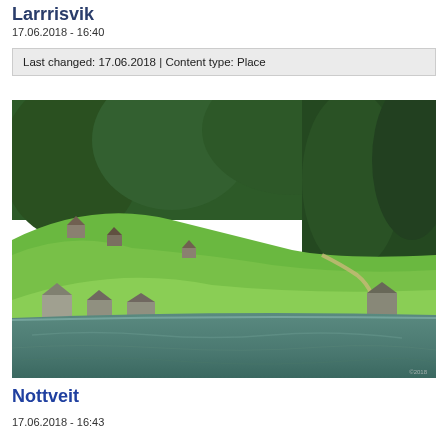Larrrisvik
17.06.2018 - 16:40
Last changed: 17.06.2018 | Content type: Place
[Figure (photo): Fjord landscape with green hillside, small farm buildings, dense forest, and calm blue-green water in the foreground]
Nottveit
17.06.2018 - 16:43